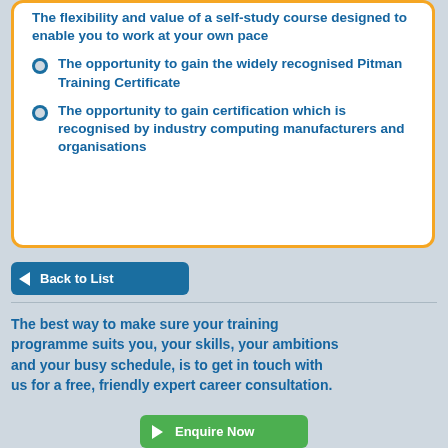The flexibility and value of a self-study course designed to enable you to work at your own pace
The opportunity to gain the widely recognised Pitman Training Certificate
The opportunity to gain certification which is recognised by industry computing manufacturers and organisations
Back to List
The best way to make sure your training programme suits you, your skills, your ambitions and your busy schedule, is to get in touch with us for a free, friendly expert career consultation.
Enquire Now